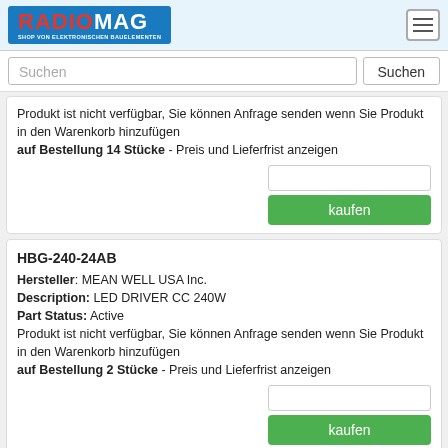[Figure (logo): Radiomag logo - blue background with RADIO in red and MAG in white, subtitle SHOP VON ELEKTRONISCHEN BAUELEMENTEN]
Suchen [search input field] Suchen [button]
Produkt ist nicht verfügbar, Sie können Anfrage senden wenn Sie Produkt in den Warenkorb hinzufügen
auf Bestellung 14 Stücke - Preis und Lieferfrist anzeigen
HBG-240-24AB
Hersteller: MEAN WELL USA Inc.
Description: LED DRIVER CC 240W
Part Status: Active
Produkt ist nicht verfügbar, Sie können Anfrage senden wenn Sie Produkt in den Warenkorb hinzufügen
auf Bestellung 2 Stücke - Preis und Lieferfrist anzeigen
HBG-240-48AB
Hersteller: MEAN WELL USA Inc.